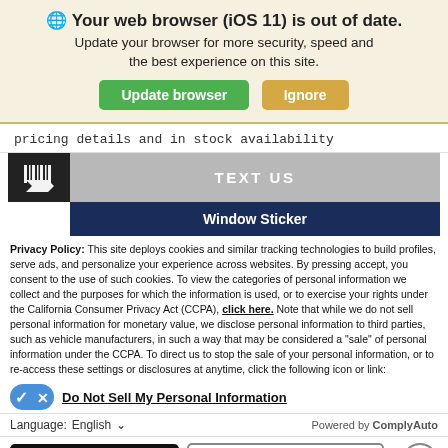[Figure (screenshot): Browser out-of-date warning banner with globe icon, bold title 'Your web browser (iOS 11) is out of date.', subtitle text, green 'Update browser' button and tan 'Ignore' button]
pricing details and in stock availability
[Figure (screenshot): Dark box with barcode/scan icon on left, gray 'TEXT US' button on right, below that a dark navy 'Window Sticker' button]
Privacy Policy: This site deploys cookies and similar tracking technologies to build profiles, serve ads, and personalize your experience across websites. By pressing accept, you consent to the use of such cookies. To view the categories of personal information we collect and the purposes for which the information is used, or to exercise your rights under the California Consumer Privacy Act (CCPA), click here. Note that while we do not sell personal information for monetary value, we disclose personal information to third parties, such as vehicle manufacturers, in such a way that may be considered a "sale" of personal information under the CCPA. To direct us to stop the sale of your personal information, or to re-access these settings or disclosures at anytime, click the following icon or link:
Do Not Sell My Personal Information
Language: English  ∨  Powered by ComplyAuto
Accept and Continue →   California Privacy Disclosures   ×